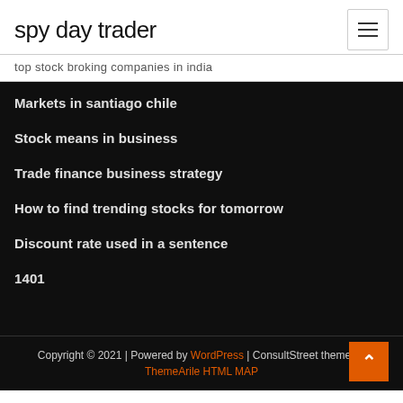spy day trader
top stock broking companies in india
Markets in santiago chile
Stock means in business
Trade finance business strategy
How to find trending stocks for tomorrow
Discount rate used in a sentence
1401
Copyright © 2021 | Powered by WordPress | ConsultStreet theme by ThemeArile HTML MAP